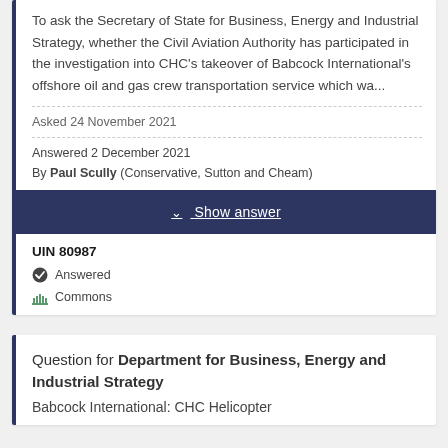To ask the Secretary of State for Business, Energy and Industrial Strategy, whether the Civil Aviation Authority has participated in the investigation into CHC's takeover of Babcock International's offshore oil and gas crew transportation service which wa...
Asked 24 November 2021
Answered 2 December 2021
By Paul Scully (Conservative, Sutton and Cheam)
✓ Show answer
UIN 80987
Answered
Commons
Question for Department for Business, Energy and Industrial Strategy
Babcock International: CHC Helicopter